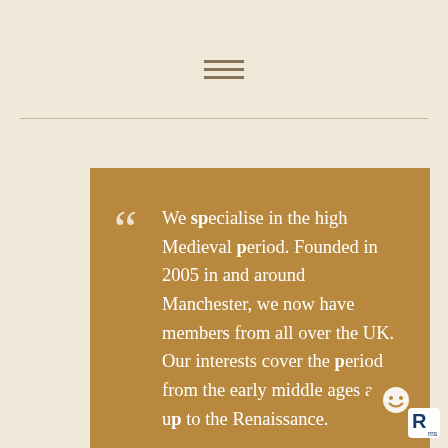[Figure (other): Hamburger menu icon with three horizontal lines]
We specialise in the high Medieval period. Founded in 2005 in and around Manchester, we now have members from all over the UK. Our interests cover the period from the early middle ages and up to the Renaissance.